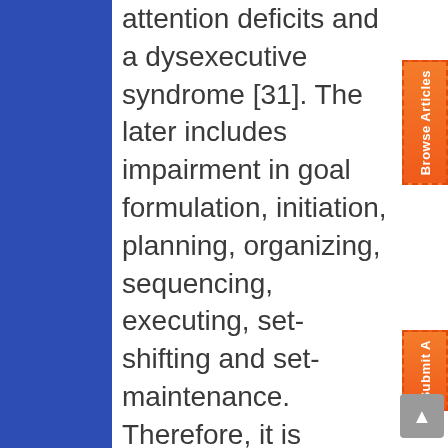attention deficits and a dysexecutive syndrome [31]. The later includes impairment in goal formulation, initiation, planning, organizing, sequencing, executing, set-shifting and set-maintenance. Therefore, it is recommended that